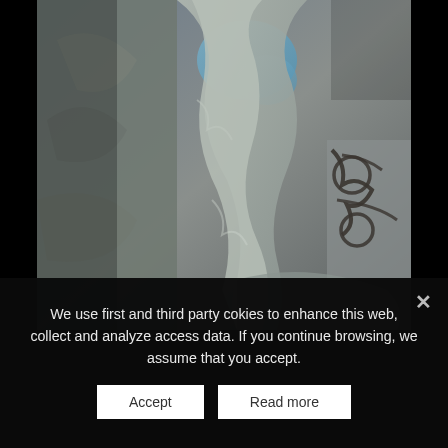[Figure (photo): Close-up photograph of weathered stone architectural carvings, likely gothic or medieval style. Shows detailed stonework with twisted and eroded sculptural elements, along with ornate iron scroll work visible on the right side.]
We use first and third party cokies to enhance this web, collect and analyze access data. If you continue browsing, we assume that you accept.